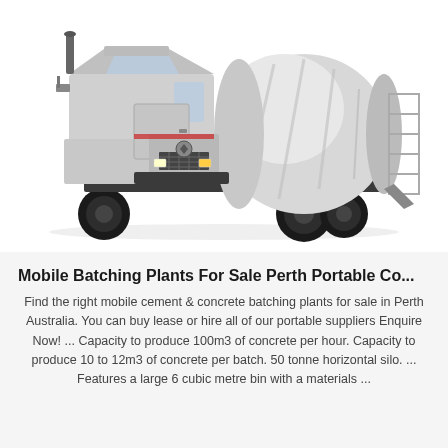[Figure (photo): A white cement mixer truck (concrete transit mixer) photographed on white background, showing the mixing drum on the rear, large wheels, and cab at front.]
Mobile Batching Plants For Sale Perth Portable Co...
Find the right mobile cement & concrete batching plants for sale in Perth Australia. You can buy lease or hire all of our portable suppliers Enquire Now! ... Capacity to produce 100m3 of concrete per hour. Capacity to produce 10 to 12m3 of concrete per batch. 50 tonne horizontal silo. ... Features a large 6 cubic metre bin with a materials ...